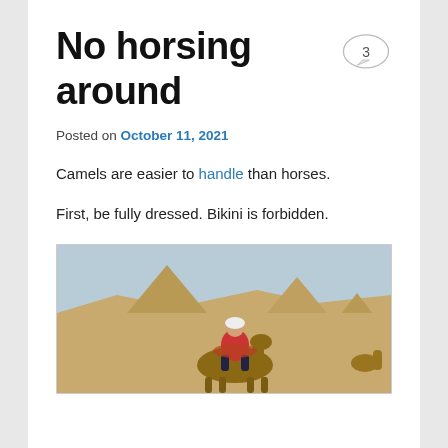No horsing around
Posted on October 11, 2021
Camels are easier to handle than horses.
First, be fully dressed. Bikini is forbidden.
[Figure (photo): Person riding a camel in front of the Egyptian pyramids at Giza, sandy desert landscape, person wearing red top and white head covering, blue sky in background.]